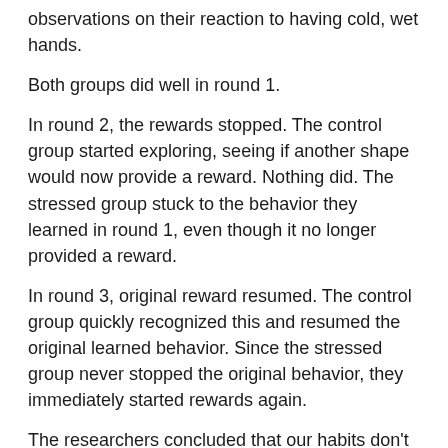observations on their reaction to having cold, wet hands.
Both groups did well in round 1.
In round 2, the rewards stopped. The control group started exploring, seeing if another shape would now provide a reward. Nothing did. The stressed group stuck to the behavior they learned in round 1, even though it no longer provided a reward.
In round 3, original reward resumed. The control group quickly recognized this and resumed the original learned behavior. Since the stressed group never stopped the original behavior, they immediately started rewards again.
The researchers concluded that our habits don't fall apart under pressure. If anything, they assert themselves. They're dialed in.
We have learned through experience that a specific behavior produced a desired result, usually meeting a need. We feel the need, we anticipate the reward, we act, we enjoy the reward. That's a habit.
When the reward changed in the study, the need was no longer